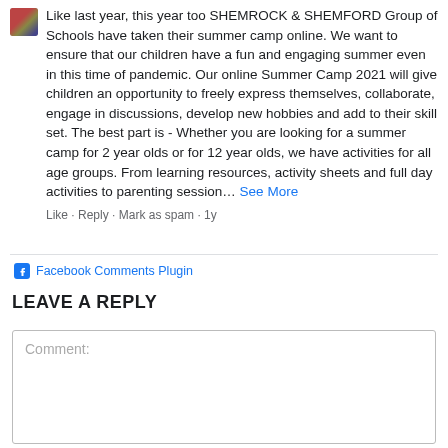Like last year, this year too SHEMROCK & SHEMFORD Group of Schools have taken their summer camp online. We want to ensure that our children have a fun and engaging summer even in this time of pandemic. Our online Summer Camp 2021 will give children an opportunity to freely express themselves, collaborate, engage in discussions, develop new hobbies and add to their skill set. The best part is - Whether you are looking for a summer camp for 2 year olds or for 12 year olds, we have activities for all age groups. From learning resources, activity sheets and full day activities to parenting session… See More
Like · Reply · Mark as spam · 1y
Facebook Comments Plugin
LEAVE A REPLY
Comment: